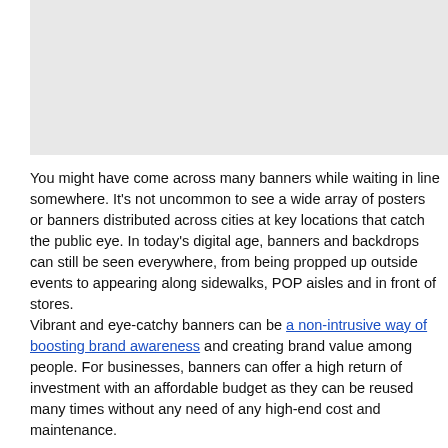[Figure (photo): Gray rectangular image placeholder at the top of the page]
You might have come across many banners while waiting in line somewhere. It's not uncommon to see a wide array of posters or banners distributed across cities at key locations that catch the public eye. In today's digital age, banners and backdrops can still be seen everywhere, from being propped up outside events to appearing along sidewalks, POP aisles and in front of stores.
Vibrant and eye-catchy banners can be a non-intrusive way of boosting brand awareness and creating brand value among people. For businesses, banners can offer a high return of investment with an affordable budget as they can be reused many times without any need of any high-end cost and maintenance.